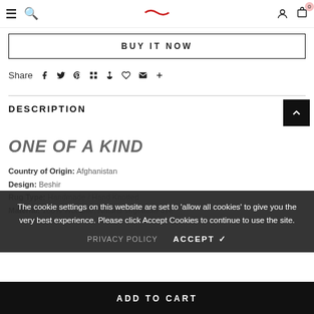Navigation bar with hamburger menu, search, logo, user icon, cart (0)
BUY IT NOW
Share
DESCRIPTION
ONE OF A KIND
Country of Origin: Afghanistan
Design: Beshir
Rug Type: Handmade / Hand Knotted
Material: 100% Woolpile, Natural vegetable dye
The cookie settings on this website are set to 'allow all cookies' to give you the very best experience. Please click Accept Cookies to continue to use the site.
PRIVACY POLICY   ACCEPT ✓
ADD TO CART